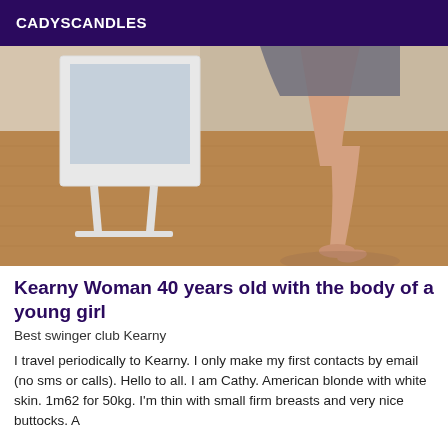CADYSCANDLES
[Figure (photo): A room interior showing a white-framed mirror on a stand and bare legs and feet of a person on a wooden parquet floor, with a grey fabric visible in the background.]
Kearny Woman 40 years old with the body of a young girl
Best swinger club Kearny
I travel periodically to Kearny. I only make my first contacts by email (no sms or calls). Hello to all. I am Cathy. American blonde with white skin. 1m62 for 50kg. I'm thin with small firm breasts and very nice buttocks. A